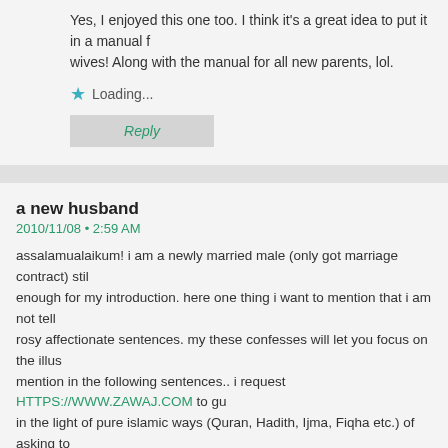Yes, I enjoyed this one too. I think it's a great idea to put it in a manual for new wives! Along with the manual for all new parents, lol.
Loading...
Reply
a new husband
2010/11/08 • 2:59 AM
assalamualaikum! i am a newly married male (only got marriage contract) still enough for my introduction. here one thing i want to mention that i am not telling rosy affectionate sentences. my these confesses will let you focus on the illus mention in the following sentences.. i request HTTPS://WWW.ZAWAJ.COM to gu in the light of pure islamic ways (Quran, Hadith, Ijma, Fiqha etc.) of asking to each other's rights (————) because in the early teenages we are bombar exposure about sexual intercourse between sexe(s). it'll be very kind of you. E-AZEEM for paving a street with full islamic flowers at frings for your brother wa Assalamualaikum.